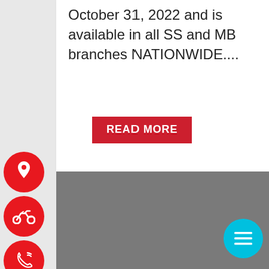October 31, 2022 and is available in all SS and MB branches NATIONWIDE....
[Figure (other): Red READ MORE button/CTA]
[Figure (other): Gray image/map placeholder section]
[Figure (other): Red circular location pin icon button on left sidebar]
[Figure (other): Red circular motorcycle icon button on left sidebar]
[Figure (other): Red circular phone icon button on left sidebar]
[Figure (other): Cyan circular hamburger menu FAB button bottom right]